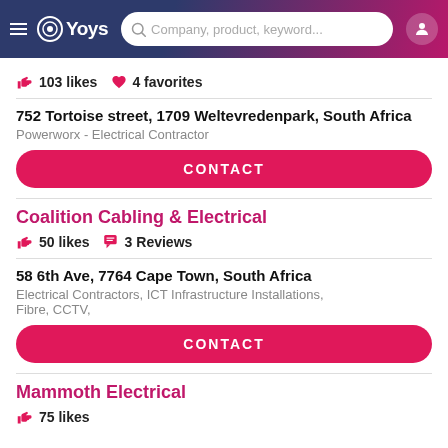Yoys - Company, product, keyword...
103 likes   4 favorites
752 Tortoise street, 1709 Weltevredenpark, South Africa
Powerworx - Electrical Contractor
CONTACT
Coalition Cabling & Electrical
50 likes   3 Reviews
58 6th Ave, 7764 Cape Town, South Africa
Electrical Contractors, ICT Infrastructure Installations, Fibre, CCTV,
CONTACT
Mammoth Electrical